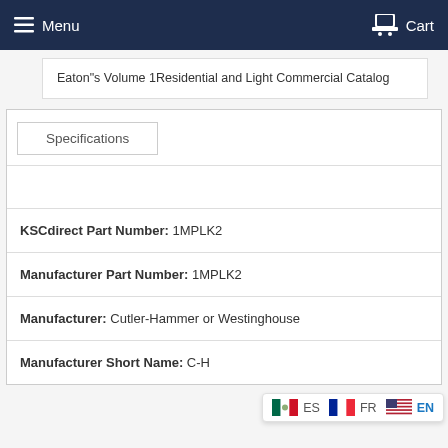Menu   Cart
Eaton"s Volume 1Residential and Light Commercial Catalog
Specifications
KSCdirect Part Number: 1MPLK2
Manufacturer Part Number: 1MPLK2
Manufacturer: Cutler-Hammer or Westinghouse
Manufacturer Short Name: C-H